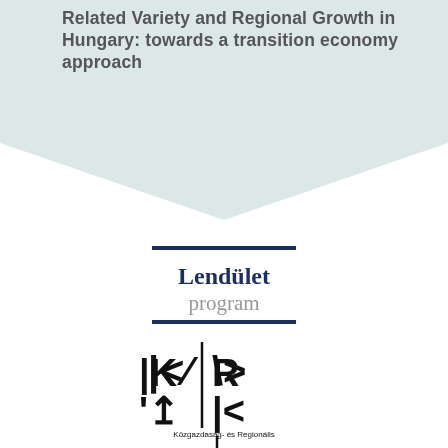Related Variety and Regional Growth in Hungary: towards a transition economy approach
[Figure (logo): Lendület program logo — dark blue double horizontal lines top and bottom framing the text 'Lendület' in dark navy serif font and 'program' in grey serif font below]
[Figure (logo): KRTK logo — stylized letters K R T K in black geometric style above text 'Közgazdaság- és Regionális Tudományi Kutatóközpont']